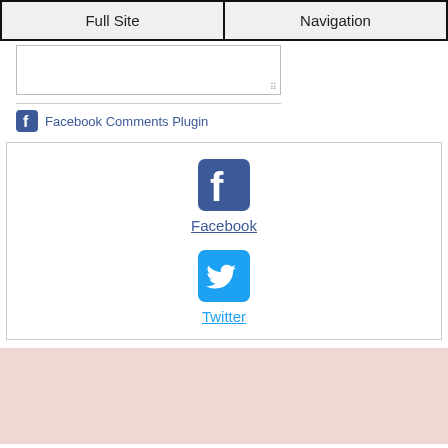Full Site | Navigation
[Figure (screenshot): Textarea input box with resize handle]
[Figure (screenshot): Facebook Comments Plugin row with Facebook icon and text link]
[Figure (infographic): Social sharing box with Facebook icon and link, and Twitter icon and link]
[Figure (other): Pink/rose colored background section (advertisement or banner area)]
This site uses cookies, some of which are required for its operation. Privacy
x